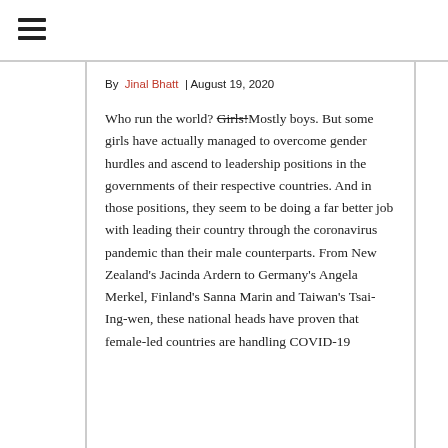≡ (hamburger menu icon)
By Jinal Bhatt | August 19, 2020
Who run the world? Girls!Mostly boys. But some girls have actually managed to overcome gender hurdles and ascend to leadership positions in the governments of their respective countries. And in those positions, they seem to be doing a far better job with leading their country through the coronavirus pandemic than their male counterparts. From New Zealand's Jacinda Ardern to Germany's Angela Merkel, Finland's Sanna Marin and Taiwan's Tsai-Ing-wen, these national heads have proven that female-led countries are handling COVID-19